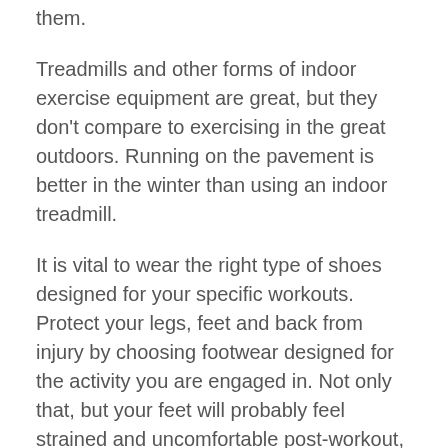them.
Treadmills and other forms of indoor exercise equipment are great, but they don't compare to exercising in the great outdoors. Running on the pavement is better in the winter than using an indoor treadmill.
It is vital to wear the right type of shoes designed for your specific workouts. Protect your legs, feet and back from injury by choosing footwear designed for the activity you are engaged in. Not only that, but your feet will probably feel strained and uncomfortable post-workout, which can prevent you from wanting to continue your routine.
When lifting weights, doing many reps of lighter weights is far more effective at increasing muscle mass than doing only a few reps with heavier weights. Muscle mass does not just entail lifting the most weight. It also requires being